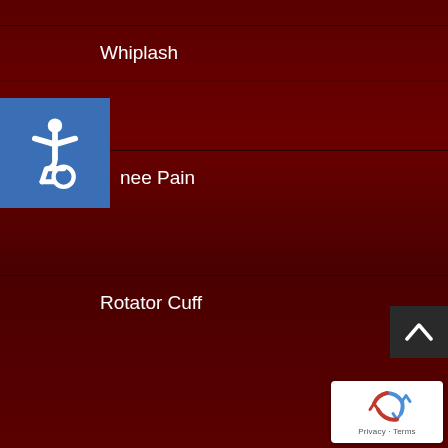Whiplash
[Figure (illustration): Blue accessibility/wheelchair icon on blue square background, partially overlapping the Knee Pain menu item]
Knee Pain
Rotator Cuff
Important Links
About
We Can Help
Healthy Recipes
Location & Hours
[Figure (logo): Google reCAPTCHA badge with blue recycling-arrow icon and Privacy/Terms text]